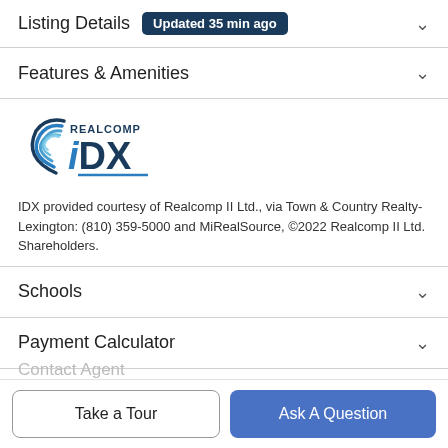Listing Details  Updated 35 min ago
Features & Amenities
[Figure (logo): Realcomp IDX logo with blue swirl graphic and text 'REALCOMP IDX']
IDX provided courtesy of Realcomp II Ltd., via Town & Country Realty-Lexington: (810) 359-5000 and MiRealSource, ©2022 Realcomp II Ltd. Shareholders.
Schools
Payment Calculator
Contact Agent
Take a Tour
Ask A Question